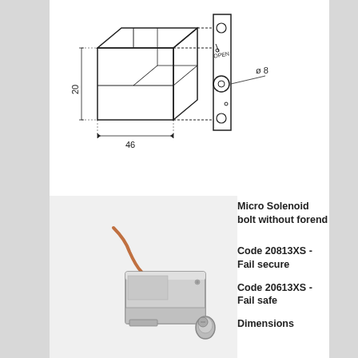[Figure (engineering-diagram): Technical drawing of a solenoid bolt mechanism showing dimensions: 20mm height, 46mm depth, and ø8mm circular element. The diagram shows a 3D exploded-style view with a mounting plate on the right side.]
[Figure (photo): Photograph of a micro solenoid bolt without forend — a small metallic rectangular device with a wire/cable attached]
Micro Solenoid bolt without forend
Code 20813XS - Fail secure
Code 20613XS - Fail safe
Dimensions